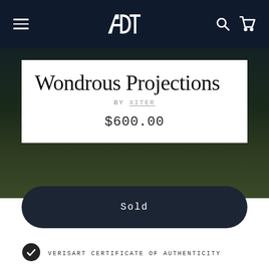Navigation bar with hamburger menu, ADT logo, search and cart icons
Wondrous Projections
BY XITER
$600.00
Sold
VERISART CERTIFICATE OF AUTHENTICITY